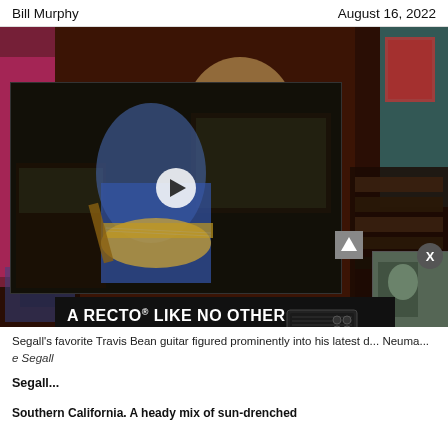Bill Murphy   August 16, 2022
[Figure (photo): A person with blonde hair wearing a Cafe Du Monde t-shirt in a recording studio, with a video overlay showing a guitarist playing a guitar, plus a thumbnail corner image. Mesa/Boogie Badlander Series advertisement overlay.]
Segall's favorite Travis Bean guitar figured prominently into his latest d... Neuma... Segall
Segall...
Southern California. A heady mix of sun-drenched